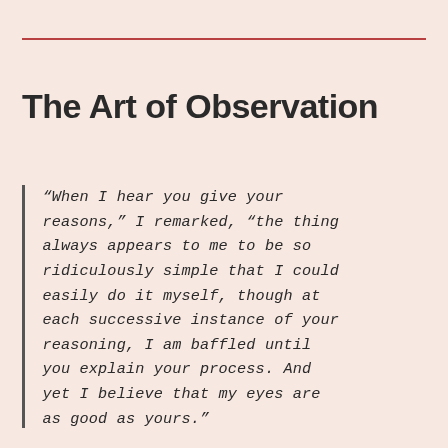The Art of Observation
“When I hear you give your reasons,” I remarked, “the thing always appears to me to be so ridiculously simple that I could easily do it myself, though at each successive instance of your reasoning, I am baffled until you explain your process. And yet I believe that my eyes are as good as yours.”